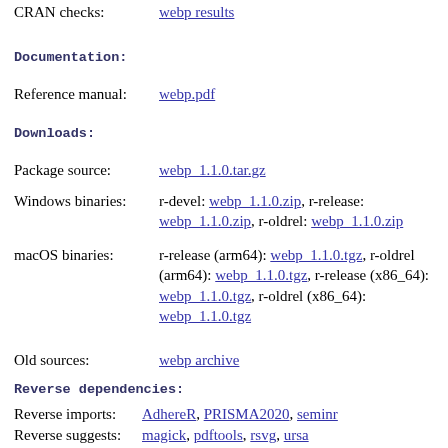CRAN checks: webp results
Documentation:
Reference manual: webp.pdf
Downloads:
Package source: webp_1.1.0.tar.gz
Windows binaries: r-devel: webp_1.1.0.zip, r-release: webp_1.1.0.zip, r-oldrel: webp_1.1.0.zip
macOS binaries: r-release (arm64): webp_1.1.0.tgz, r-oldrel (arm64): webp_1.1.0.tgz, r-release (x86_64): webp_1.1.0.tgz, r-oldrel (x86_64): webp_1.1.0.tgz
Old sources: webp archive
Reverse dependencies:
Reverse imports: AdhereR, PRISMA2020, seminr
Reverse suggests: magick, pdftools, rsvg, ursa
Linking: